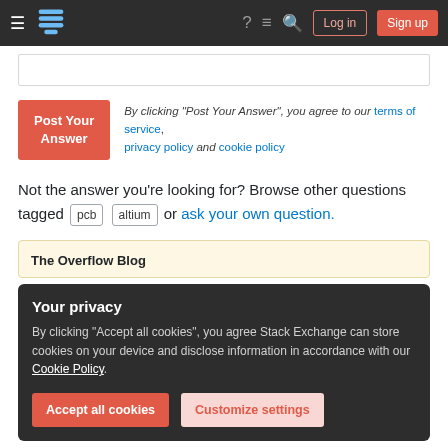Stack Exchange navigation bar with hamburger menu, logo, help, chat, search icons, Log in and Sign up buttons
[Figure (screenshot): Empty answer text input box with border]
[Figure (other): Post Your Answer button (red)]
By clicking “Post Your Answer”, you agree to our terms of service, privacy policy and cookie policy
Not the answer you’re looking for? Browse other questions tagged pcb altium or ask your own question.
The Overflow Blog
Your privacy
By clicking “Accept all cookies”, you agree Stack Exchange can store cookies on your device and disclose information in accordance with our Cookie Policy.
Accept all cookies | Customize settings